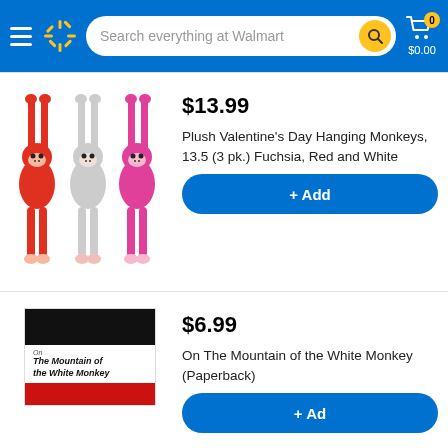Search everything at Walmart | Cart $0.00
$13.99
Plush Valentine's Day Hanging Monkeys, 13.5 (3 pk.) Fuchsia, Red and White
+ Add
$6.99
On The Mountain of the White Monkey (Paperback)
+ Add